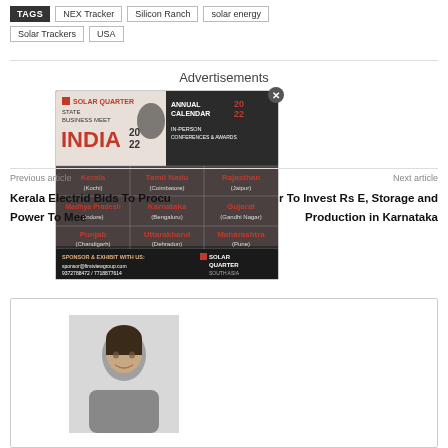TAGS
NEX Tracker
Silicon Ranch
solar energy
Solar Trackers
USA
Advertisements
[Figure (infographic): Solar Quarter State Business Meet India 2022 Annual Calendar advertisement showing Indian states: Kerala (Kochi), Tamil Nadu (Coimbatore), Rajasthan (Jaipur), Madhya Pradesh (Indore), Karnataka (Bengaluru), Gujarat (Gandhi Nagar), Punjab (Chandigarh), Uttarakhand (Dehradun), Maharashtra (Pune). Sponsor & Exhibit contact info shown.]
Previous article
Next article
Kerala Electric Bids To Procu Power To Mee
r To Invest Rs E, Storage and Production in Karnataka